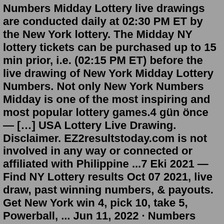Numbers Midday Lottery live drawings are conducted daily at 02:30 PM ET by the New York lottery. The Midday NY lottery tickets can be purchased up to 15 min prior, i.e. (02:15 PM ET) before the live drawing of New York Midday Lottery Numbers. Not only New York Numbers Midday is one of the most inspiring and most popular lottery games.4 gün önce — […] USA Lottery Live Drawing. Disclaimer. EZ2resultstoday.com is not involved in any way or connected or affiliated with Philippine ...7 Eki 2021 — Find NY Lottery results Oct 07 2021, live draw, past winning numbers, & payouts. Get New York win 4, pick 10, take 5, Powerball, ... Jun 11, 2022 · Numbers Midday: 2:30 p.m. 2:30 p.m. 2:30 p.m. 2:30 p.m. 2:30 p.m. 2:30 p.m. ... Once you find out through our New York Lottery results that you have won a prize, make ... 4 gün önce — […] USA Lottery Live Drawing. Disclaimer. EZ2resultstoday.com is not involved in any way or connected or affiliated with Philippine ...7 Eki 2021 — Find NY Lottery results Oct 07 2021, live draw, past winning numbers, &